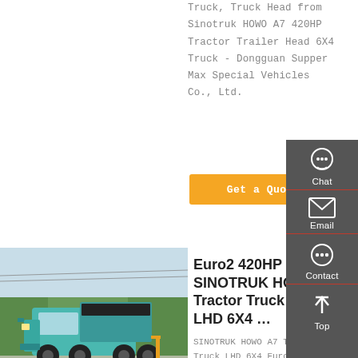Truck, Truck Head from Sinotruk HOWO A7 420HP Tractor Trailer Head 6X4 Truck - Dongguan Supper Max Special Vehicles Co., Ltd.
Get a Quote
[Figure (photo): Photo of a teal/turquoise SINOTRUK HOWO heavy dump truck parked on a road with trees in the background]
Euro2 420HP SINOTRUK HOWO A7 Tractor Truck LHD 6X4 …
SINOTRUK HOWO A7 Tractor Truck LHD 6X4 Euro2 420HP ...